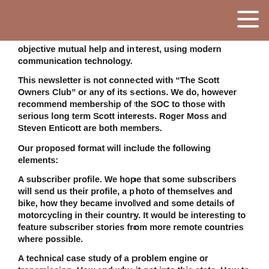objective mutual help and interest, using modern communication technology.
This newsletter is not connected with “The Scott Owners Club” or any of its sections. We do, however recommend membership of the SOC to those with serious long term Scott interests. Roger Moss and Steven Enticott are both members.
Our proposed format will include the following elements:
A subscriber profile. We hope that some subscribers will send us their profile, a photo of themselves and bike, how they became involved and some details of motorcycling in their country. It would be interesting to feature subscriber stories from more remote countries where possible.
A technical case study of a problem engine or transmission. How and why it got into this state. How to avoid yours becoming likewise. What is needed to correct the situation.
Lifestyle section. Stories of adventures with Scott’s